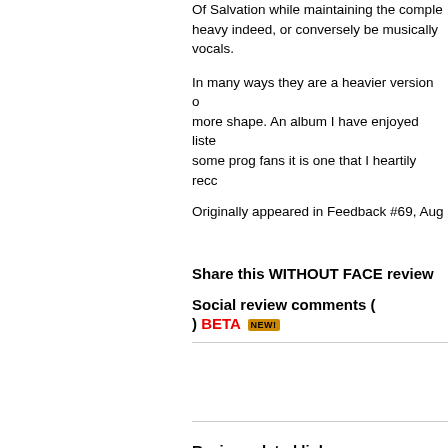Of Salvation while maintaining the comple... heavy indeed, or conversely be musically... vocals.
In many ways they are a heavier version o... more shape. An album I have enjoyed liste... some prog fans it is one that I heartily reco...
Originally appeared in Feedback #69, Aug...
Share this WITHOUT FACE review
Social review comments ( ) BETA NEW!
Review related links
Send comments to kev rowland